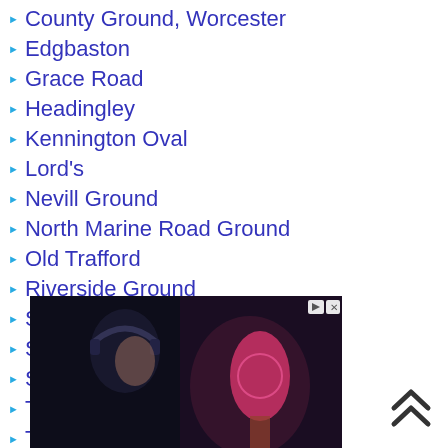County Ground, Worcester
Edgbaston
Grace Road
Headingley
Kennington Oval
Lord's
Nevill Ground
North Marine Road Ground
Old Trafford
Riverside Ground
Sophia Gardens
St Helen's
St Lawrence Ground
The Rose Bowl
Trent Bridge
[Figure (photo): Advertisement showing a man with headphones near a microphone in dark studio lighting with pink/blue tones]